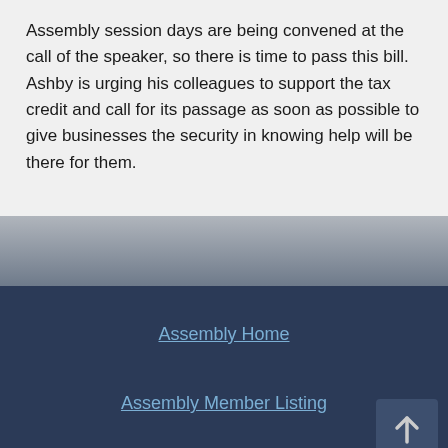Assembly session days are being convened at the call of the speaker, so there is time to pass this bill. Ashby is urging his colleagues to support the tax credit and call for its passage as soon as possible to give businesses the security in knowing help will be there for them.
Assembly Home
Assembly Member Listing